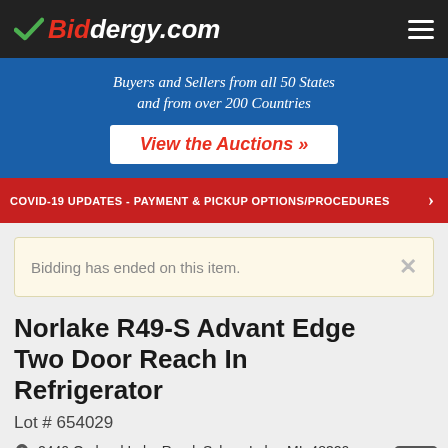Biddergy.com
Buyers and Sellers from all 50 States and from over 200 Countries
View the Auctions »
COVID-19 UPDATES - PAYMENT & PICKUP OPTIONS/PROCEDURES
Bidding has ended on this item.
Norlake R49-S Advant Edge Two Door Reach In Refrigerator
Lot # 654029
2440 Orchard Lake Road, Sylvan Lake, MI, 48320
Sylvan Lake, MI - Kitchen